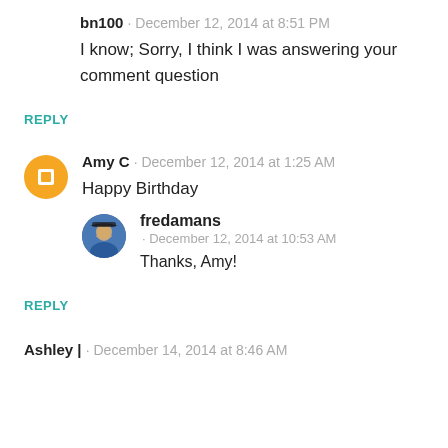bn100 · December 12, 2014 at 8:51 PM
I know; Sorry, I think I was answering your comment question
REPLY
Amy C · December 12, 2014 at 1:25 AM
Happy Birthday
fredamans · December 12, 2014 at 10:53 AM
Thanks, Amy!
REPLY
Ashley | · December 14, 2014 at 8:46 AM